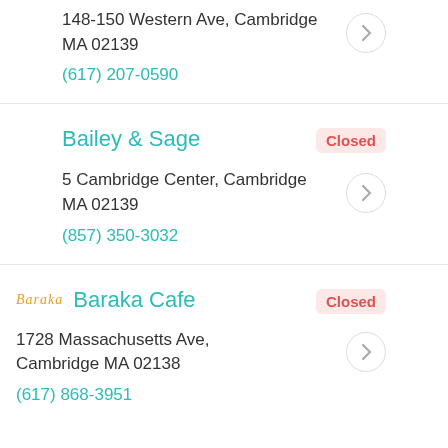148-150 Western Ave, Cambridge MA 02139
(617) 207-0590
Bailey & Sage
Closed
5 Cambridge Center, Cambridge MA 02139
(857) 350-3032
Baraka Cafe
Closed
1728 Massachusetts Ave, Cambridge MA 02138
(617) 868-3951